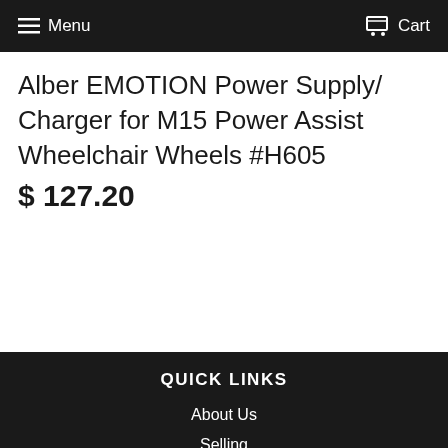Menu  Cart
Alber EMOTION Power Supply/ Charger for M15 Power Assist Wheelchair Wheels #H605
$ 127.20
QUICK LINKS
About Us
Selling
Rentals